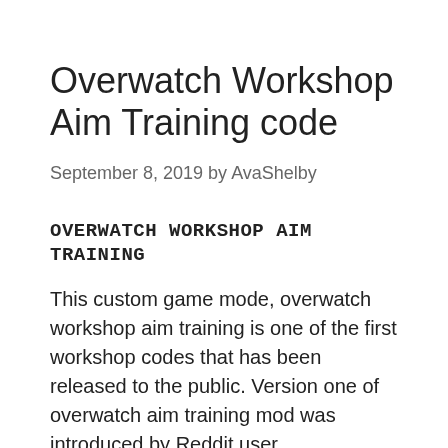Overwatch Workshop Aim Training code
September 8, 2019 by AvaShelby
OVERWATCH WORKSHOP AIM TRAINING
This custom game mode, overwatch workshop aim training is one of the first workshop codes that has been released to the public. Version one of overwatch aim training mod was introduced by Reddit user